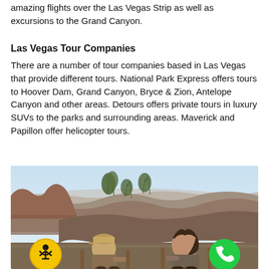amazing flights over the Las Vegas Strip as well as excursions to the Grand Canyon.
Las Vegas Tour Companies
There are a number of tour companies based in Las Vegas that provide different tours. National Park Express offers tours to Hoover Dam, Grand Canyon, Bryce & Zion, Antelope Canyon and other areas. Detours offers private tours in luxury SUVs to the parks and surrounding areas. Maverick and Papillon offer helicopter tours.
[Figure (photo): Two people sitting in chairs looking out over the Grand Canyon, with canyon walls and sparse trees visible in the background under a light blue sky. A yellow accessibility button and green phone button are overlaid at the bottom corners.]